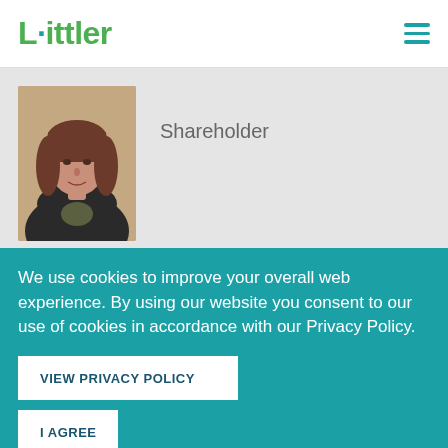Littler
[Figure (photo): Headshot photo of a woman with brown hair wearing a black jacket, profile attorney photo]
Shareholder
jtravers@littler.com  (407) 393-2950
We use cookies to improve your overall web experience. By using our website you consent to our use of cookies in accordance with our Privacy Policy.
VIEW PRIVACY POLICY
I AGREE